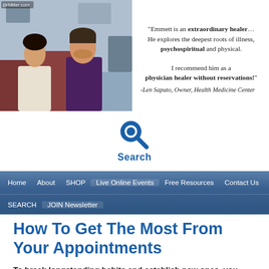[Figure (photo): Photo of Dr. Miller consulting with a patient in an office setting. A man and woman seated facing each other.]
"Emmett is an extraordinary healer… He explores the deepest roots of illness, psychospiritual and physical. I recommend him as a physician healer without reservations!" -Len Saputo, Owner, Health Medicine Center
[Figure (other): Search icon (magnifying glass) in blue with the label 'Search' below it]
Home | About | SHOP | Live Online Events | Free Resources | Contact Us | SEARCH | JOIN Newsletter
How To Get The Most From Your Appointments
To break longstanding habits and establish new ones, you need skills as well as knowledge. The recording you have received